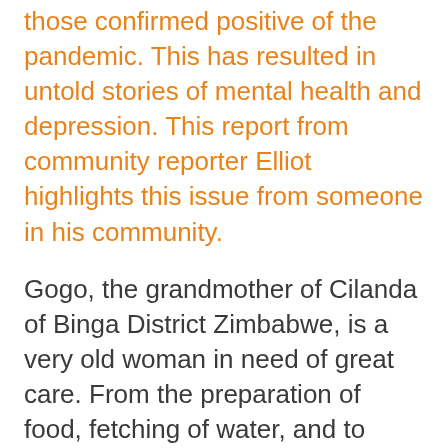those confirmed positive of the pandemic. This has resulted in untold stories of mental health and depression. This report from community reporter Elliot highlights this issue from someone in his community.
Gogo, the grandmother of Cilanda of Binga District Zimbabwe, is a very old woman in need of great care. From the preparation of food, fetching of water, and to bathing, Cilanda is wholly dependent on her son, a prison warden, for these services. But the son tested positive for Covid and as a matter of urgency, had to be isolated from the vulnerable Cilanda.